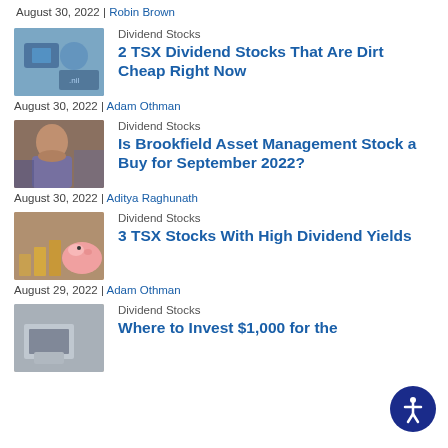August 30, 2022 | Robin Brown
Dividend Stocks
2 TSX Dividend Stocks That Are Dirt Cheap Right Now
August 30, 2022 | Adam Othman
Dividend Stocks
Is Brookfield Asset Management Stock a Buy for September 2022?
August 30, 2022 | Aditya Raghunath
Dividend Stocks
3 TSX Stocks With High Dividend Yields
August 29, 2022 | Adam Othman
Dividend Stocks
Where to Invest $1,000 for the